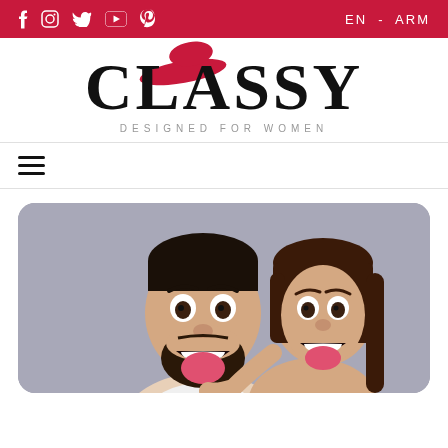f  IG  Twitter  YouTube  Pinterest  |  EN - ARM
[Figure (logo): Classy logo - large bold serif text 'CLASSY' with a red hat swoosh over the L and A, tagline 'DESIGNED FOR WOMEN' below]
[Figure (photo): A man and woman making funny faces sticking tongues out, photographed against a grey background, woman has arms around man from behind]